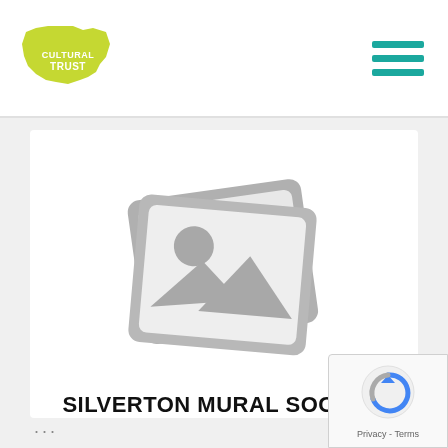[Figure (logo): Oregon Cultural Trust logo — green Oregon state shape above text CULTURAL TRUST in white]
[Figure (other): Hamburger menu icon with three teal horizontal lines]
[Figure (illustration): Gray placeholder image icon showing two overlapping photo frames with mountain landscape symbol]
SILVERTON MURAL SOCIETY
[Figure (other): Google reCAPTCHA badge with spinning arrow logo and Privacy - Terms text]